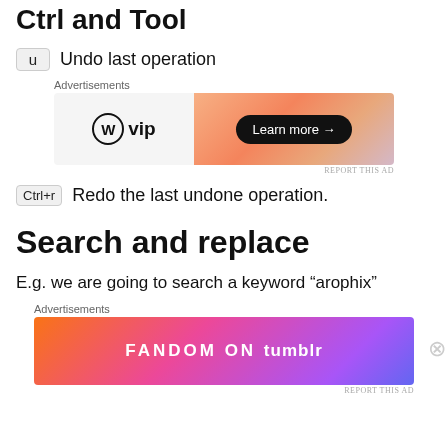Ctrl and Tool
u  Undo last operation
[Figure (screenshot): WordPress VIP advertisement banner with orange gradient and Learn more button]
Ctrl+r  Redo the last undone operation.
Search and replace
E.g. we are going to search a keyword “arophix”
[Figure (screenshot): Fandom on Tumblr advertisement banner with colorful gradient]